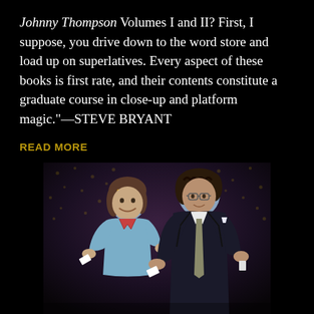Johnny Thompson Volumes I and II? First, I suppose, you drive down to the word store and load up on superlatives. Every aspect of these books is first rate, and their contents constitute a graduate course in close-up and platform magic."—STEVE BRYANT
READ MORE
[Figure (photo): A man in a dark suit and glasses performing a magic trick on stage with a young girl in a light blue jacket. Both are holding small white cards and gesturing toward the camera. The background is a dark curtain with star patterns.]